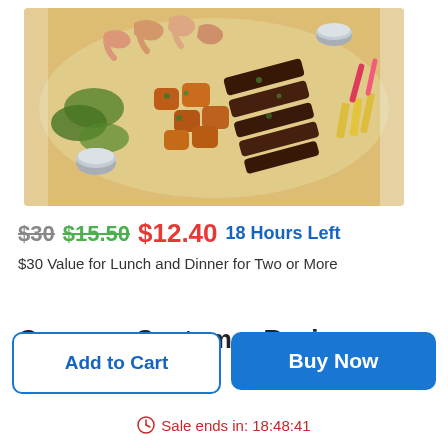[Figure (photo): A large platter of mixed grilled meats and seafood including shrimp, steak, and chicken with vegetables, garnished with herbs, served on a wooden board with dipping sauces.]
$30  $15.50  $12.40  18 Hours Left
$30 Value for Lunch and Dinner for Two or More
Groupon Customer Reviews
Add to Cart
Buy Now
Sale ends in: 18:48:41